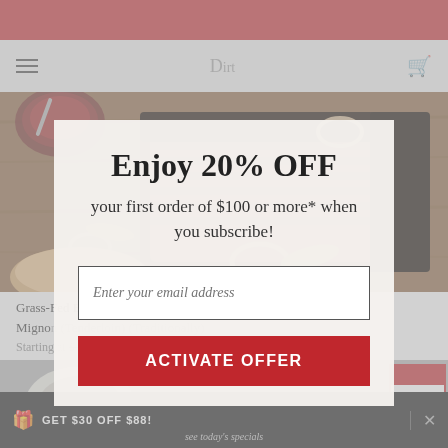[Figure (screenshot): Website screenshot showing a food e-commerce page with a popup modal overlay. Background shows sliced beef brisket on a cutting board with sauce, onion rings and peppers. Navigation bar with hamburger menu and cart icon. Product listings for Grass-Fed Beef Filet and Filet Mignon. A modal dialog overlays the page with a promotional offer.]
Enjoy 20% OFF
your first order of $100 or more* when you subscribe!
Enter your email address
ACTIVATE OFFER
Grass-Fed Beef Filet...Filet Mignon (Tenderloin) (Traditionally)
Starting at $34.99...99
GET $30 OFF $88!
see today's specials